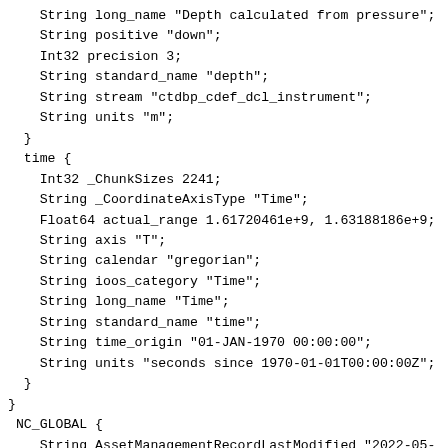String long_name "Depth calculated from pressure";
    String positive "down";
    Int32 precision 3;
    String standard_name "depth";
    String stream "ctdbp_cdef_dcl_instrument";
    String units "m";
  }
  time {
    Int32 _ChunkSizes 2241;
    String _CoordinateAxisType "Time";
    Float64 actual_range 1.61720461e+9, 1.63188186e+9;
    String axis "T";
    String calendar "gregorian";
    String ioos_category "Time";
    String long_name "Time";
    String standard_name "time";
    String time_origin "01-JAN-1970 00:00:00";
    String units "seconds since 1970-01-01T00:00:00Z";
  }
}
 NC_GLOBAL {
    String AssetManagementRecordLastModified "2022-05-
    String AssetUniqueID "CGINS-DOSTAD-00482";
    String cdm_data_type "Other";
    String collection_method "telemetered";